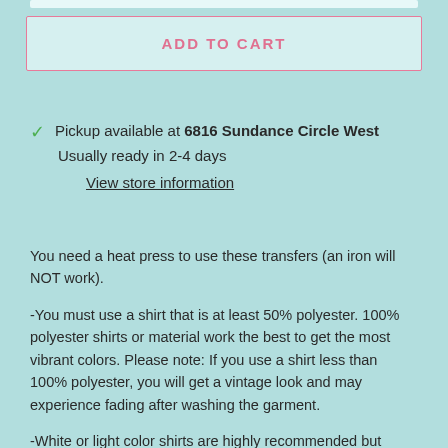ADD TO CART
Pickup available at 6816 Sundance Circle West
Usually ready in 2-4 days
View store information
You need a heat press to use these transfers (an iron will NOT work).
-You must use a shirt that is at least 50% polyester. 100% polyester shirts or material work the best to get the most vibrant colors. Please note: If you use a shirt less than 100% polyester, you will get a vintage look and may experience fading after washing the garment.
-White or light color shirts are highly recommended but other